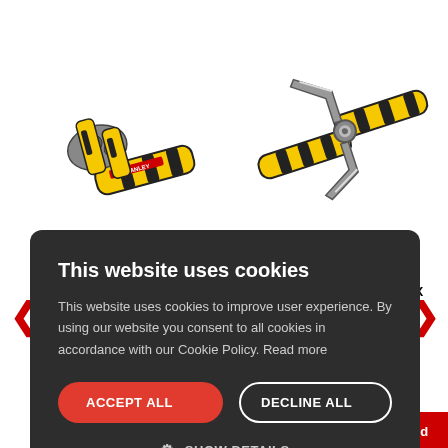[Figure (photo): Stanley STA096230 FatMax Auto Wire Stripping Plier - yellow and black tool]
[Figure (photo): Stanley STA089858 FatMax Diagonal Cutting Plier 150mm - yellow and black tool]
STANLEY STA096230 FATMAX AUTO WIRE STRIPPING PLIER
STANLEY STA089858 FAT MAX DIAGONAL CUTTTING PLIER 150MM 0-89-858
87059
16,29
ick Add
This website uses cookies
This website uses cookies to improve user experience. By using our website you consent to all cookies in accordance with our Cookie Policy. Read more
ACCEPT ALL
DECLINE ALL
SHOW DETAILS